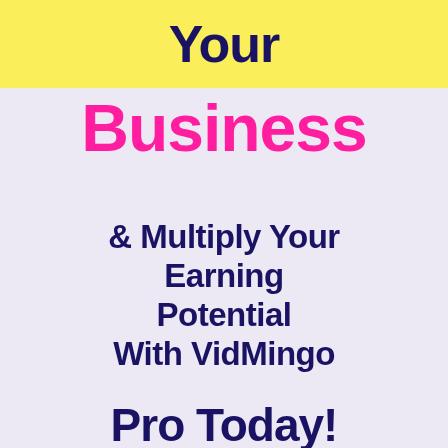Your
Business
& Multiply Your Earning Potential With VidMingo Pro Today!